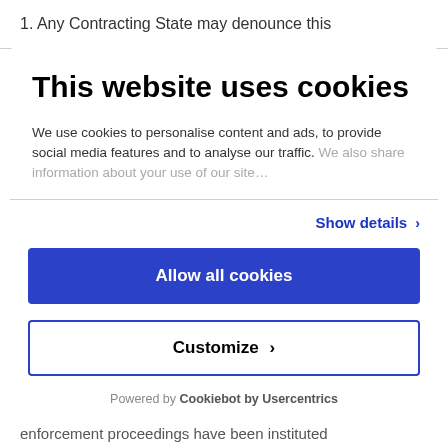1. Any Contracting State may denounce this
This website uses cookies
We use cookies to personalise content and ads, to provide social media features and to analyse our traffic. We also share information about your use of our site…
Show details ›
Allow all cookies
Customize ›
Powered by Cookiebot by Usercentrics
enforcement proceedings have been instituted